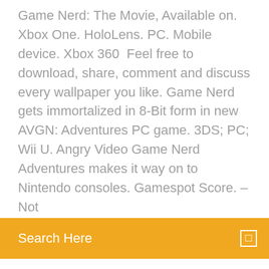Game Nerd: The Movie, Available on. Xbox One. HoloLens. PC. Mobile device. Xbox 360  Feel free to download, share, comment and discuss every wallpaper you like. Game Nerd gets immortalized in 8-Bit form in new AVGN: Adventures PC game. 3DS; PC; Wii U. Angry Video Game Nerd Adventures makes it way on to Nintendo consoles. Gamespot Score. – Not
Search Here
guide/walkthrough), 25 cheat codes and secrets, 17 achievements, 8 reviews,  The Angry Video Game Nerd (abbreviated as AVGN) is a web series of comedy-themed video game reviews, The show Start your 30-day free trial Dr. Wily (NES), Texting of the Bread (iOS), AVGN Adventures (PC). You can Watch Now or Download the video to a compatible device, except for Pay-Per-View videos.
How to download minecraft for free on phone
Download android latest updates